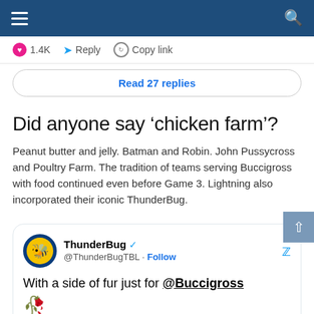Navigation bar with hamburger menu and search icon
1.4K   Reply   Copy link
Read 27 replies
Did anyone say 'chicken farm'?
Peanut butter and jelly. Batman and Robin. John Pussycross and Poultry Farm. The tradition of teams serving Buccigross with food continued even before Game 3. Lightning also incorporated their iconic ThunderBug.
[Figure (screenshot): Embedded tweet from @ThunderBugTBL (ThunderBug, verified) with Twitter bird icon. Tweet text: 'With a side of fur just for @Buccigross 🧤'. Includes a partial image with Watch on Twitter badge.]